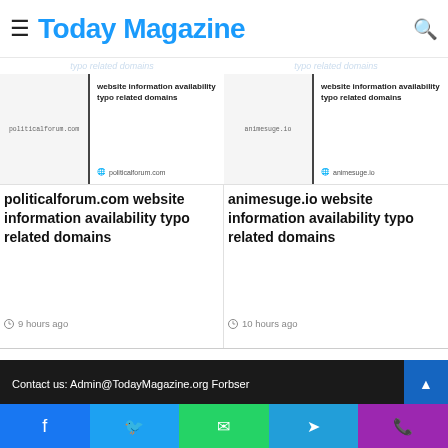Today Magazine
[Figure (screenshot): Thumbnail card for politicalforum.com article about website information availability typo related domains]
[Figure (screenshot): Thumbnail card for animesuge.io article about website information availability typo related domains]
politicalforum.com website information availability typo related domains
9 hours ago
animesuge.io website information availability typo related domains
10 hours ago
Contact us: Admin@TodayMagazine.org Forbser